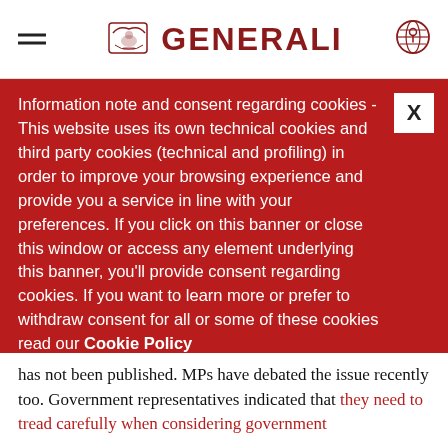[Figure (logo): Generali logo with lion/eagle emblem and GENERALI wordmark in dark red, hamburger menu icon on left, globe/location icon on right]
Information note and consent regarding cookies - This website uses its own technical cookies and third party cookies (technical and profiling) in order to improve your browsing experience and provide you a service in line with your preferences. If you click on this banner or close this window or access any element underlying this banner, you'll provide consent regarding cookies. If you want to learn more or prefer to withdraw consent for all or some of these cookies read our Cookie Policy
has not been published. MPs have debated the issue recently too. Government representatives indicated that they need to tread carefully when considering government